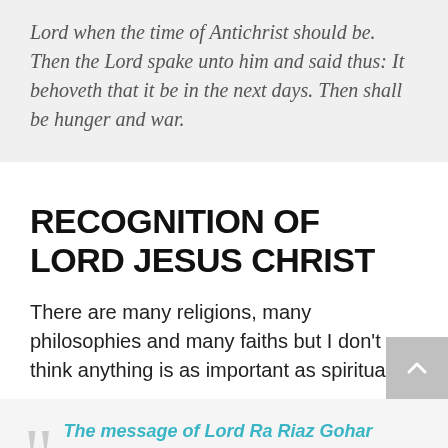Lord when the time of Antichrist should be. Then the Lord spake unto him and said thus: It behoveth that it be in the next days. Then shall be hunger and war.
RECOGNITION OF LORD JESUS CHRIST
There are many religions, many philosophies and many faiths but I don't think anything is as important as spirituality.
The message of Lord Ra Riaz Gohar Shahi is spirituality and divine love. Whether you